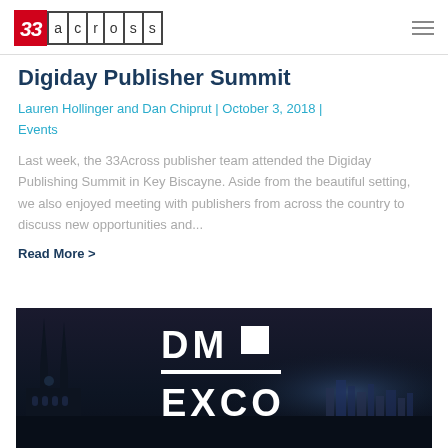33across
Digiday Publisher Summit
Lauren Hollinger and Dan Chiprut | October 3, 2018 | Events
Last week, the 33Across publisher team attended the Digiday Publishing Summit in Key Biscayne. Aside from the beautiful setting, we also enjoyed meeting with publishers from across the country to discuss new opportunities and...
Read More >
[Figure (photo): DMEXCO event logo over a dark cityscape background featuring a cathedral silhouette at night]